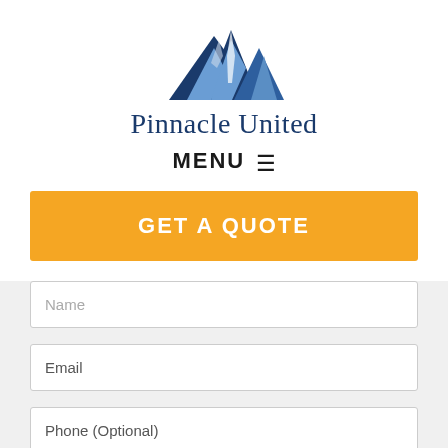[Figure (logo): Pinnacle United mountain logo with blue mountain peaks and white/light path down the center]
Pinnacle United
MENU ≡
GET A QUOTE
Name
Email
Phone (Optional)